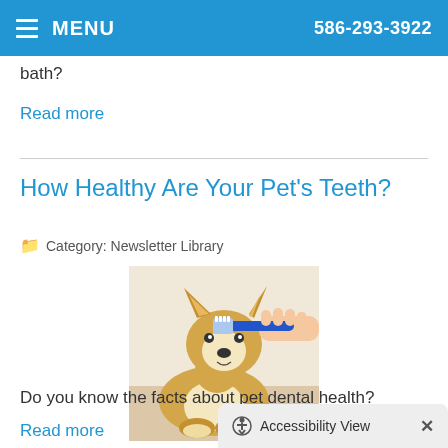MENU  586-293-3922
bath?
Read more
How Healthy Are Your Pet's Teeth?
Category: Newsletter Library
[Figure (photo): A Corgi dog having its teeth brushed with a blue toothbrush held by a human hand]
Do you know the facts about pet dental health?
Read more
Accessibility View